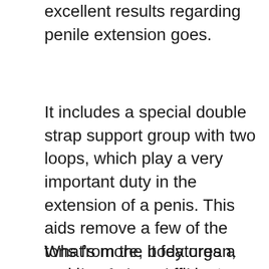excellent results regarding penile extension goes.
It includes a special double strap support group with two loops, which play a very important duty in the extension of a penis. This aids remove a few of the tons from the body organ, making sure an efficient as well as comfy augmentation procedure.
What’s more, it features a couple of air pads that contribute to the process by enhancing breathability and doing away with the undesirable scent. This can also be credited to the truth that the gadget is made from meticulously selected products that satisfy high health as well as comfort criteria. This is unlike low cost, poor quality extenders that